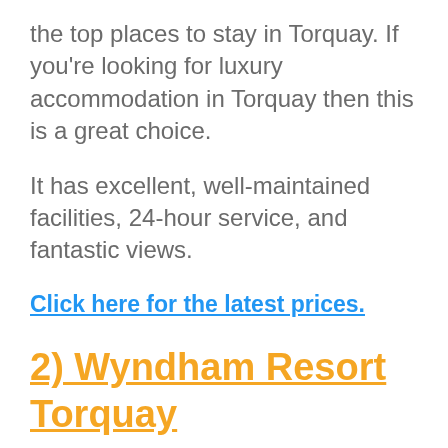the top places to stay in Torquay. If you're looking for luxury accommodation in Torquay then this is a great choice.
It has excellent, well-maintained facilities, 24-hour service, and fantastic views.
Click here for the latest prices.
2) Wyndham Resort Torquay